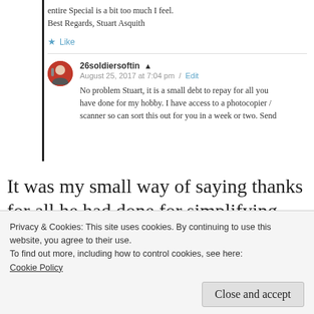entire Special is a bit too much I feel.
Best Regards, Stuart Asquith
Like
26soldiersoftin
August 25, 2017 at 7:04 pm / Edit
No problem Stuart, it is a small debt to repay for all you have done for my hobby. I have access to a photocopier / scanner so can sort this out for you in a week or two. Send
It was my small way of saying thanks for all he had done for simplifying and inspiring my hobby over many years. I was happy to have
Privacy & Cookies: This site uses cookies. By continuing to use this website, you agree to their use.
To find out more, including how to control cookies, see here:
Cookie Policy
Close and accept